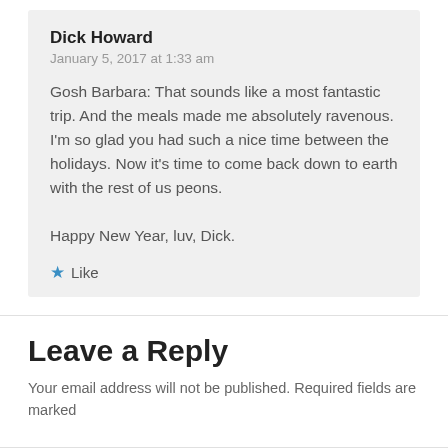Dick Howard
January 5, 2017 at 1:33 am
Gosh Barbara: That sounds like a most fantastic trip. And the meals made me absolutely ravenous. I'm so glad you had such a nice time between the holidays. Now it's time to come back down to earth with the rest of us peons.

Happy New Year, luv, Dick.
Like
Leave a Reply
Your email address will not be published. Required fields are marked